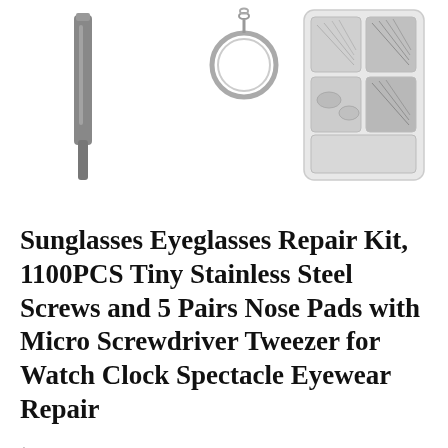[Figure (photo): Product photo showing a tweezer/tool, a keychain ring, and a white compartmentalized box containing small screws and hardware pieces for eyeglass repair kit]
Sunglasses Eyeglasses Repair Kit, 1100PCS Tiny Stainless Steel Screws and 5 Pairs Nose Pads with Micro Screwdriver Tweezer for Watch Clock Spectacle Eyewear Repair
$9.99
$5.99 in stock
BUY NOW